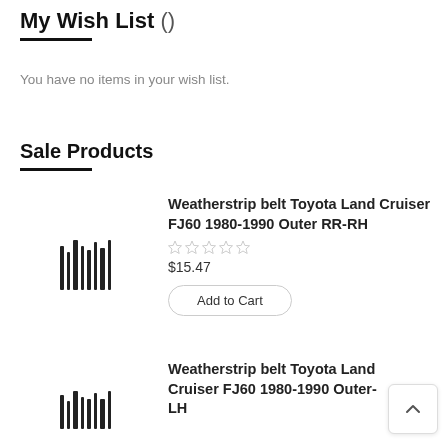My Wish List ()
You have no items in your wish list.
Sale Products
[Figure (other): Barcode/product placeholder image for Weatherstrip belt Toyota Land Cruiser FJ60 1980-1990 Outer RR-RH]
Weatherstrip belt Toyota Land Cruiser FJ60 1980-1990 Outer RR-RH
$15.47
Add to Cart
[Figure (other): Barcode/product placeholder image for Weatherstrip belt Toyota Land Cruiser FJ60 1980-1990 Outer LH]
Weatherstrip belt Toyota Land Cruiser FJ60 1980-1990 Outer LH